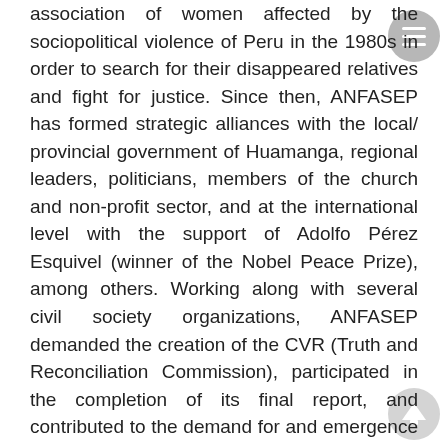association of women affected by the sociopolitical violence of Peru in the 1980s in order to search for their disappeared relatives and fight for justice. Since then, ANFASEP has formed strategic alliances with the local/ provincial government of Huamanga, regional leaders, politicians, members of the church and non-profit sector, and at the international level with the support of Adolfo Pérez Esquivel (winner of the Nobel Peace Prize), among others. Working along with several civil society organizations, ANFASEP demanded the creation of the CVR (Truth and Reconciliation Commission), participated in the completion of its final report, and contributed to the demand for and emergence of state reparations for victims of the civil war. The construction of ANAFASEP's Memory Museum "Para Que No Se Repita" was bolstered by unconditional support from foundations and embassies. The association has also supported public ministry officials and forensic anthropologists in completing exhumations of mass